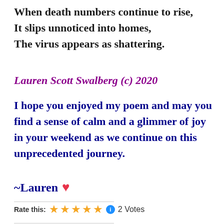When death numbers continue to rise,
It slips unnoticed into homes,
The virus appears as shattering.
Lauren Scott Swalberg (c) 2020
I hope you enjoyed my poem and may you find a sense of calm and a glimmer of joy in your weekend as we continue on this unprecedented journey.
~Lauren ♥
Rate this: ★★★★★ ℹ 2 Votes